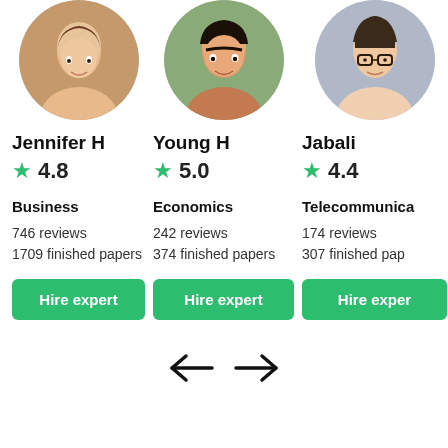[Figure (photo): Circular profile photo of Jennifer H, a smiling woman with brown hair]
Jennifer H
★ 4.8
Business
746 reviews
1709 finished papers
Hire expert
[Figure (photo): Circular profile photo of Young H, a smiling young Asian woman]
Young H
★ 5.0
Economics
242 reviews
374 finished papers
Hire expert
[Figure (photo): Circular profile photo of Jabali, a smiling woman with glasses and dark hair]
Jabali
★ 4.4
Telecommunica...
174 reviews
307 finished papers
Hire expert
[Figure (illustration): Navigation arrows: left arrow and right arrow for carousel navigation]